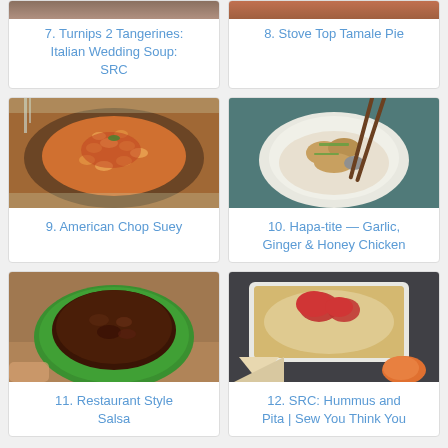[Figure (photo): Partial top image of item 7 - Italian Wedding Soup]
7. Turnips 2 Tangerines: Italian Wedding Soup: SRC
[Figure (photo): Partial top image of item 8 - Stove Top Tamale Pie]
8. Stove Top Tamale Pie
[Figure (photo): Photo of American Chop Suey - macaroni pasta with red tomato sauce on a dark plate]
9. American Chop Suey
[Figure (photo): Photo of Garlic, Ginger & Honey Chicken - chicken pieces in a white bowl with chopsticks]
10. Hapa-tite — Garlic, Ginger & Honey Chicken
[Figure (photo): Photo of Restaurant Style Salsa - dark brown salsa in a green bowl]
11. Restaurant Style Salsa
[Figure (photo): Photo of Hummus and Pita - hummus with tomatoes in a white dish on dark surface]
12. SRC: Hummus and Pita | Sew You Think You